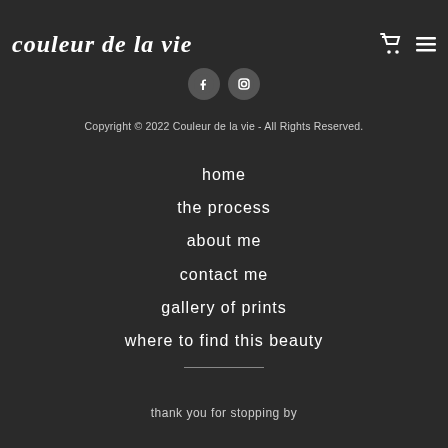couleur de la vie
[Figure (logo): Shopping cart icon and hamburger menu icon in top right]
[Figure (logo): Facebook and Instagram social media icons centered below header]
Copyright © 2022 Couleur de la vie - All Rights Reserved.
home
the process
about me
contact me
gallery of prints
where to find this beauty
thank you for stopping by